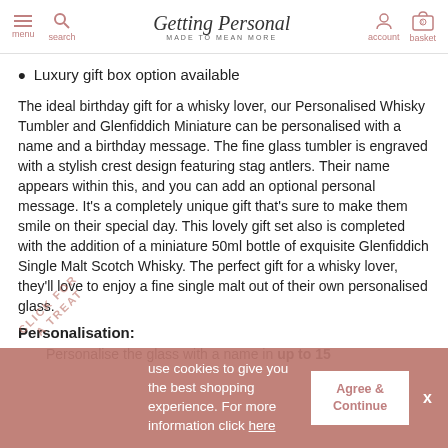Getting Personal — MADE TO MEAN MORE | menu | search | account | basket
Luxury gift box option available
The ideal birthday gift for a whisky lover, our Personalised Whisky Tumbler and Glenfiddich Miniature can be personalised with a name and a birthday message. The fine glass tumbler is engraved with a stylish crest design featuring stag antlers. Their name appears within this, and you can add an optional personal message. It's a completely unique gift that's sure to make them smile on their special day. This lovely gift set also is completed with the addition of a miniature 50ml bottle of exquisite Glenfiddich Single Malt Scotch Whisky. The perfect gift for a whisky lover, they'll love to enjoy a fine single malt out of their own personalised glass.
Personalisation:
Personalise the glass with a name in up to 15
use cookies to give you the best shopping experience. For more information click here
Agree & Continue
X